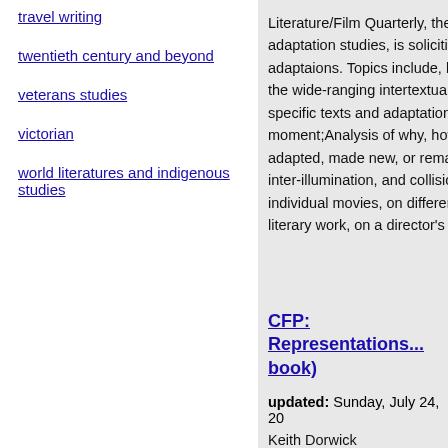travel writing
twentieth century and beyond
veterans studies
victorian
world literatures and indigenous studies
Literature/Film Quarterly, the adaptation studies, is soliciting adaptaions. Topics include, bu the wide-ranging intertextual specific texts and adaptations moment;Analysis of why, how adapted, made new, or remac inter-illumination, and collisio individual movies, on differen literary work, on a director's s
CFP: Representations... book)
updated: Sunday, July 24, 20
Keith Dorwick
Call for papers: